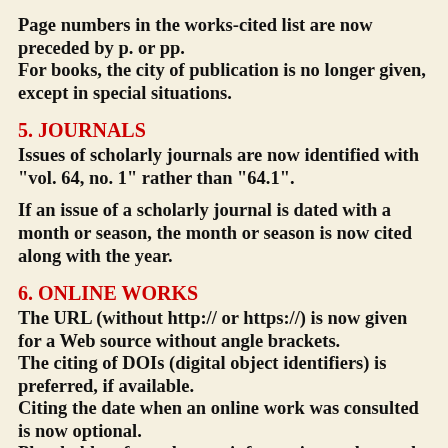Page numbers in the works-cited list are now preceded by p. or pp.
For books, the city of publication is no longer given, except in special situations.
5. JOURNALS
Issues of scholarly journals are now identified with "vol. 64, no. 1" rather than "64.1".
If an issue of a scholarly journal is dated with a month or season, the month or season is now cited along with the year.
6. ONLINE WORKS
The URL (without http:// or https://) is now given for a Web source without angle brackets.
The citing of DOIs (digital object identifiers) is preferred, if available.
Citing the date when an online work was consulted is now optional.
Placeholders for unknown information such as n.d.